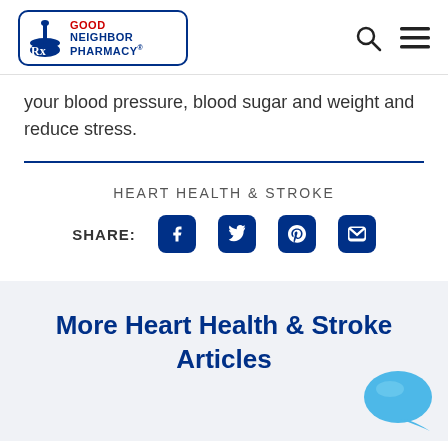Good Neighbor Pharmacy
your blood pressure, blood sugar and weight and reduce stress.
HEART HEALTH & STROKE
SHARE:
More Heart Health & Stroke Articles